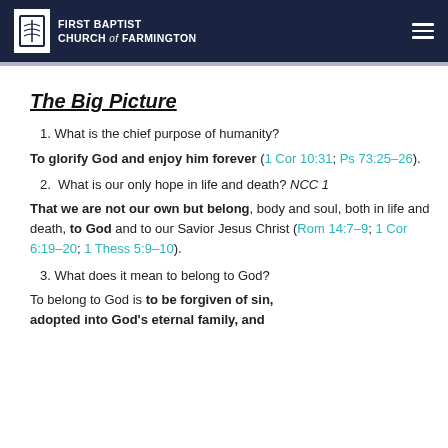FIRST BAPTIST CHURCH of FARMINGTON
The Big Picture
1. What is the chief purpose of humanity?
To glorify God and enjoy him forever (1 Cor 10:31; Ps 73:25–26).
2. What is our only hope in life and death? NCC 1
That we are not our own but belong, body and soul, both in life and death, to God and to our Savior Jesus Christ (Rom 14:7–9; 1 Cor 6:19–20; 1 Thess 5:9–10).
3. What does it mean to belong to God?
To belong to God is to be forgiven of sin, adopted into God's eternal family, and